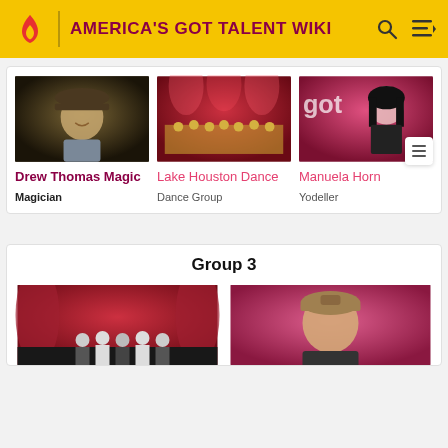AMERICA'S GOT TALENT WIKI
[Figure (illustration): Card with photo of Drew Thomas Magic (magician in hat), Lake Houston Dance (dance group on stage), and Manuela Horn (woman in black)]
Drew Thomas Magic
Magician
Lake Houston Dance
Dance Group
Manuela Horn
Yodeller
Group 3
[Figure (photo): Group of men on stage (Group 3 left card)]
[Figure (photo): Man with cap on pink background (Group 3 right card)]